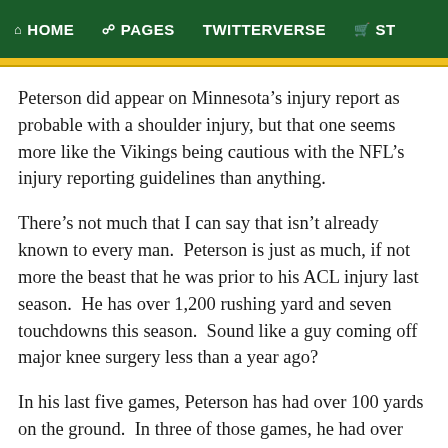HOME  PAGES  TWITTERVERSE  ST
Peterson did appear on Minnesota's injury report as probable with a shoulder injury, but that one seems more like the Vikings being cautious with the NFL's injury reporting guidelines than anything.
There's not much that I can say that isn't already known to every man.  Peterson is just as much, if not more the beast that he was prior to his ACL injury last season.  He has over 1,200 rushing yards and seven touchdowns this season.  Sound like a guy coming off major knee surgery less than a year ago?
In his last five games, Peterson has had over 100 yards on the ground.  In three of those games, he had over 150 yards.  Granted that was against the Arizona Cardinals, Seattle Seahawks and Detroit Lions who have all struggled to stop the run.  But 150 yards by a single individual is a chore, plain and simple.
Gore ran straight at the Giants for 130 yards and behind that...